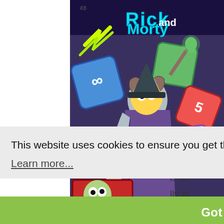[Figure (illustration): Rick and Morty comic book cover featuring a wizard-like character with a staff surrounded by large dice, a zombie in a red box, and the text 'Rick and Morty' at the top with an adult swim stamp badge reading 'It's a freakin' RIIIICK dungeon HUBBA LUBBA DUB DUB']
ooling?
rdians
is an
This website uses cookies to ensure you get the best experience on our website.
Learn more...
lly at
Got It
pretty much every crossroads of the experience. Not at all like